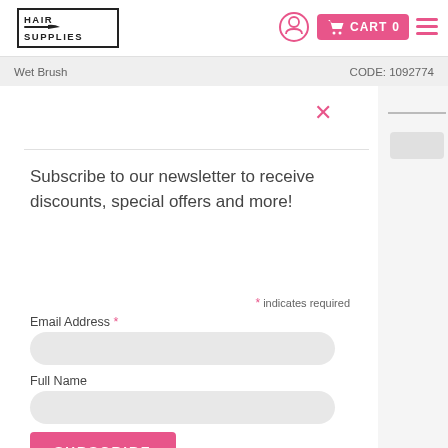[Figure (logo): Hair Supplies logo with brush illustration in black border box]
[Figure (screenshot): Navigation icons: pink account/bell icon, pink cart button with CART 0, and pink hamburger menu icon]
Wet Brush
CODE: 1092774
Subscribe to our newsletter to receive discounts, special offers and more!
* indicates required
Email Address *
Full Name
SUBSCRIBE